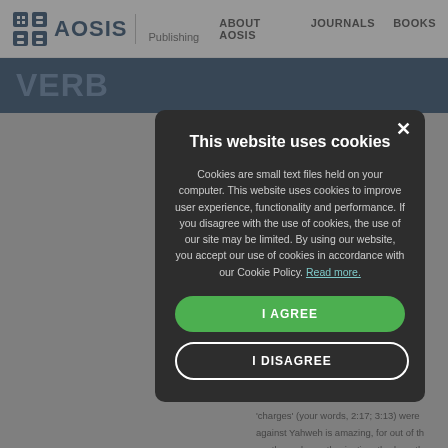AOSIS Publishing | ABOUT AOSIS | JOURNALS | BOOKS
VERB... (partially visible title behind modal)
ught as one is ... ve prospects fo... ose who do not...
ners
led by the accu... d malaise that ... eople speak of ... ression, hāzᵉqu... Your words ha... the LORD],⁶ c... faced by the p... n for the spiri... genuine heart... d audience of M... s they felt Yah... with which the... 'charges' (your words, 2:17; 3:13) were ... against Yahweh is amazing, for out of th... apathy and unenthusiastic orthodoxy, the... ordered Yahweh to show favour to them
[Figure (screenshot): Cookie consent modal dialog on AOSIS Publishing website. Dark overlay covers the page. Modal has title 'This website uses cookies', body text explaining cookie usage, a green 'I AGREE' button, and a white-bordered 'I DISAGREE' button. A close (×) button is in the top right corner.]
This website uses cookies
Cookies are small text files held on your computer. This website uses cookies to improve user experience, functionality and performance. If you disagree with the use of cookies, the use of our site may be limited. By using our website, you accept our use of cookies in accordance with our Cookie Policy. Read more.
I AGREE
I DISAGREE